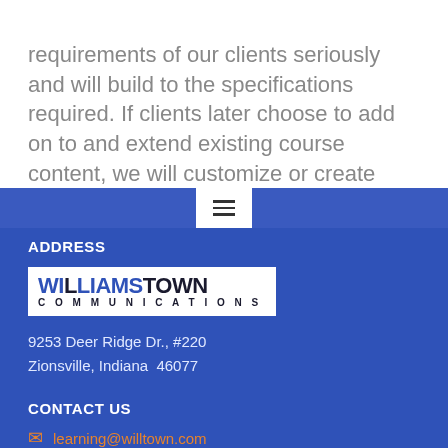requirements of our clients seriously and will build to the specifications required. If clients later choose to add on to and extend existing course content, we will customize or create whatever content is required.
[Figure (logo): Williamstown Communications logo — blue and dark text on white background]
9253 Deer Ridge Dr., #220
Zionsville, Indiana  46077
CONTACT US
learning@willtown.com